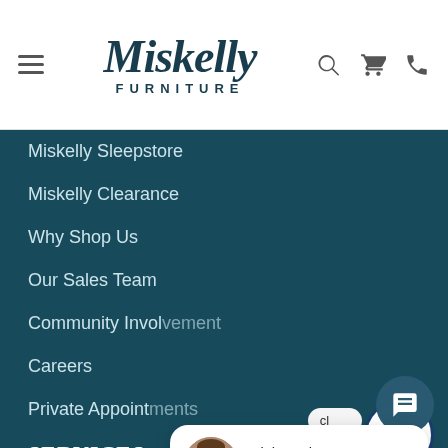[Figure (logo): Miskelly Furniture logo with hamburger menu, search, cart, and phone icons in the header]
Miskelly Sleepstore
Miskelly Clearance
Why Shop Us
Our Sales Team
Community Involvement
Careers
Private Appointments
SERVICES
Delivery
Warranties
[Figure (screenshot): Chat popup with avatar saying 'Hi there, have a question? Text us here!']